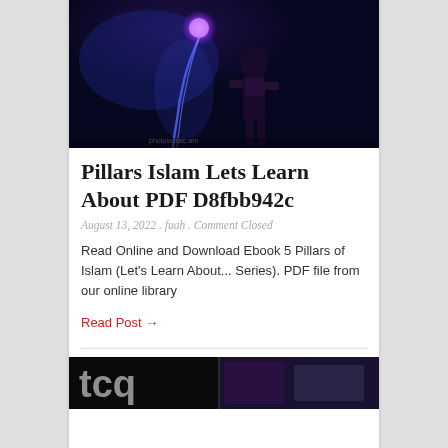[Figure (illustration): Fantasy video game character — a dark female figure wielding a glowing purple orb and lightning bolt against a dark blue background]
Pillars Islam Lets Learn About PDF D8fbb942c
August 13, 2022 . fuah . Comment Closed
Read Online and Download Ebook 5 Pillars of Islam (Let's Learn About... Series). PDF file from our online library
Read Post →
[Figure (photo): Partial view of a dark photograph showing text or signage, partially cropped at bottom of page]